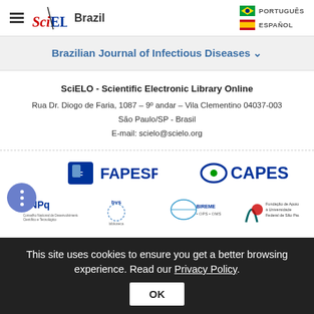[Figure (logo): SciELO Brazil logo with hamburger menu icon]
[Figure (logo): Language selectors: PORTUGUÊS and ESPAÑOL with flags]
Brazilian Journal of Infectious Diseases ∨
SciELO - Scientific Electronic Library Online
Rua Dr. Diogo de Faria, 1087 – 9º andar – Vila Clementino 04037-003
São Paulo/SP - Brasil
E-mail: scielo@scielo.org
[Figure (logo): FAPESP logo]
[Figure (logo): CAPES logo]
[Figure (logo): CNPq logo - Conselho Nacional de Desenvolvimento Científico e Tecnológico]
[Figure (logo): BVS biblioteca logo]
[Figure (logo): BIREME + OPS + OMS logo]
[Figure (logo): Fundação de Apoio à Universidade Federal de São Paulo logo]
This site uses cookies to ensure you get a better browsing experience. Read our Privacy Policy.